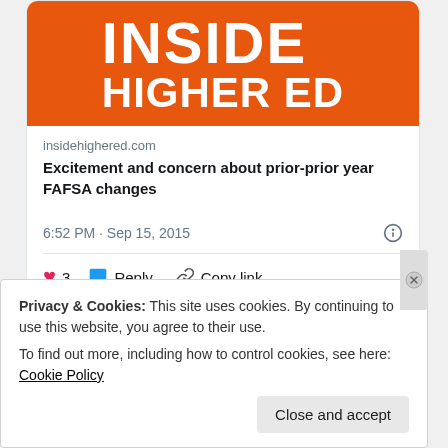[Figure (screenshot): Inside Higher Ed logo banner — orange background with white bold text 'INSIDE' on top and 'HIGHER ED' below]
insidehighered.com
Excitement and concern about prior-prior year FAFSA changes
6:52 PM · Sep 15, 2015
♥ 3   Reply   Copy link
Read 1 reply
Privacy & Cookies: This site uses cookies. By continuing to use this website, you agree to their use.
To find out more, including how to control cookies, see here: Cookie Policy
Close and accept